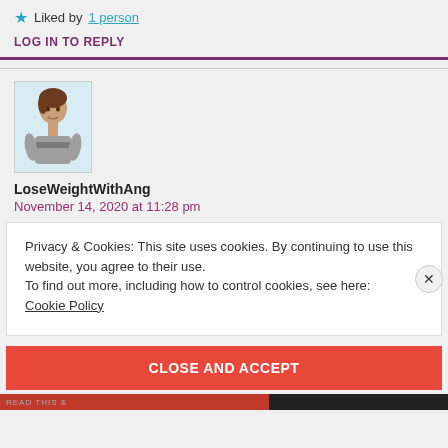★ Liked by 1 person
LOG IN TO REPLY
[Figure (photo): Avatar photo of a woman in a grey t-shirt standing against a light blue background]
LoseWeightWithAng
November 14, 2020 at 11:28 pm
Privacy & Cookies: This site uses cookies. By continuing to use this website, you agree to their use.
To find out more, including how to control cookies, see here:
Cookie Policy
CLOSE AND ACCEPT